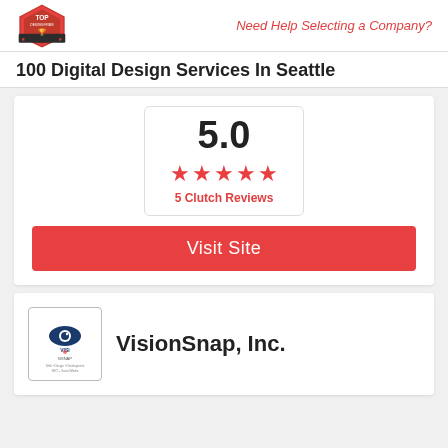Need Help Selecting a Company?
100 Digital Design Services In Seattle
5.0
5 Clutch Reviews
Visit Site
VisionSnap, Inc.